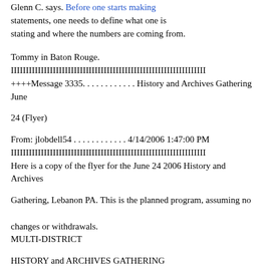Glenn C. says. Before one starts making statements, one needs to define what one is stating and where the numbers are coming from.
Tommy in Baton Rouge. IIIIIIIIIIIIIIIIIIIIIIIIIIIIIIIIIIIIIIIIIIIIIIIIIIIIIIIIIIIIIIIII ++++Message 3335. . . . . . . . . . . . History and Archives Gathering June
24 (Flyer)
From: jlobdell54 . . . . . . . . . . . . 4/14/2006 1:47:00 PM IIIIIIIIIIIIIIIIIIIIIIIIIIIIIIIIIIIIIIIIIIIIIIIIIIIIIIIIIIIIIIIII Here is a copy of the flyer for the June 24 2006 History and Archives
Gathering, Lebanon PA. This is the planned program, assuming no changes or withdrawals. MULTI-DISTRICT
HISTORY and ARCHIVES GATHERING